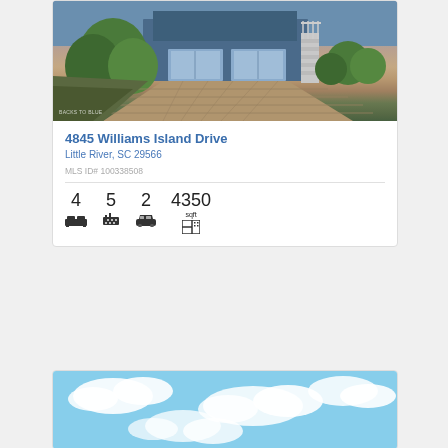[Figure (photo): Exterior photo of a house at 4845 Williams Island Drive with brick/paver driveway, two-car garage, stairs, and green landscaping]
4845 Williams Island Drive
Little River, SC 29566
MLS ID# 100338508
4 beds, 5 baths, 2 garage, 4350 sqft
[Figure (photo): Partial photo showing blue sky with clouds — second property listing card]